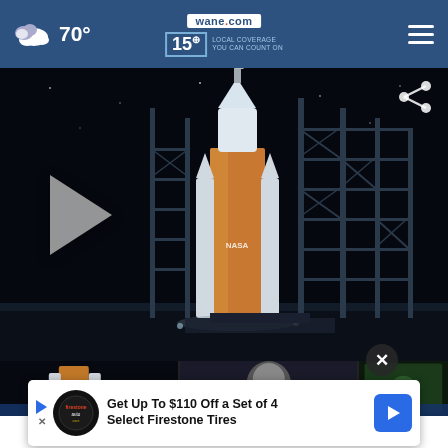70° | wane.com | 15 LOCAL COVERAGE YOU CAN COUNT ON
[Figure (screenshot): Night photo of NASA Artemis/SLS rocket on launch pad with illuminated structure against dark sky, with play button overlay]
[Figure (screenshot): Three thumbnail images below the main video: Artemis launch Monday, Saint Francis Back to..., Get Re...]
Get Up To $110 Off a Set of 4 Select Firestone Tires
Artemis launch Monday | Saint Francis Back to | Get Re